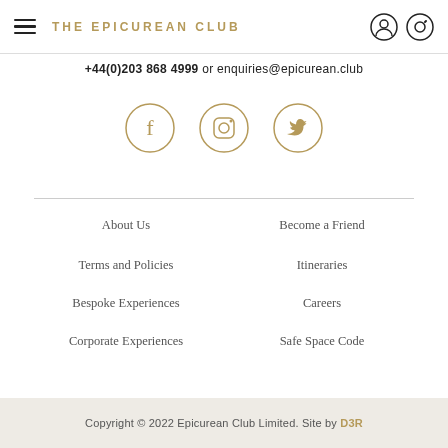THE EPICUREAN CLUB
+44(0)203 868 4999 or enquiries@epicurean.club
[Figure (other): Three social media icons in circles: Facebook (f), Instagram (camera), Twitter (bird), all in gold/olive color]
About Us
Become a Friend
Terms and Policies
Itineraries
Bespoke Experiences
Careers
Corporate Experiences
Safe Space Code
Copyright © 2022 Epicurean Club Limited. Site by D3R